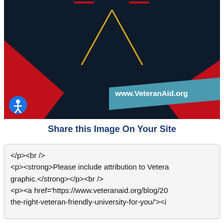[Figure (illustration): Graphic with dark navy background, red diagonal triangular shapes, and gold/yellow lines forming an upward-pointing chevron or arrow shape. A teal banner in lower right shows 'www.VeteranAid.org' in white bold text. A blue accessibility icon button overlaps the lower-left corner of the image.]
Share this Image On Your Site
</p><br />
<p><strong>Please include attribution to Vetera graphic.</strong></p><br />
<p><a href='https://www.veteranaid.org/blog/20 the-right-veteran-friendly-university-for-you/'><i